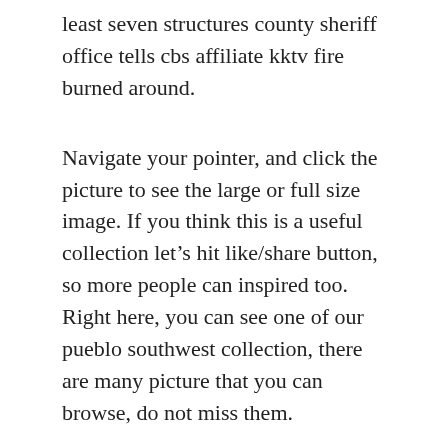least seven structures county sheriff office tells cbs affiliate kktv fire burned around.
Navigate your pointer, and click the picture to see the large or full size image. If you think this is a useful collection let's hit like/share button, so more people can inspired too. Right here, you can see one of our pueblo southwest collection, there are many picture that you can browse, do not miss them.
Considered one of the primary places that you can look for these designs is on the internet. Most of the time, the supplies could be bought at your native hardware store but there might also be specialty items that will have to be ordered from specific firms or maybe off of the Internet. There are a whole lot, if not 1000's of